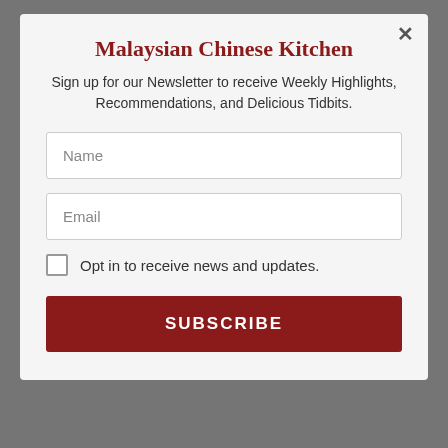Malaysian Chinese Kitchen
Sign up for our Newsletter to receive Weekly Highlights, Recommendations, and Delicious Tidbits.
Name
Email
Opt in to receive news and updates.
SUBSCRIBE
NEVER MISS A RECIPE!
Signup for our Newsletter to receive Weekly Highlights, Recommendations, and Delicious